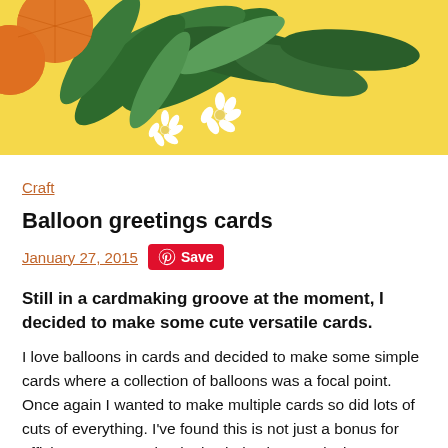[Figure (photo): Decorative header image with orange fruits, green leaves, and white flowers on a yellow background]
Craft
Balloon greetings cards
January 27, 2015   Save
Still in a cardmaking groove at the moment, I decided to make some cute versatile cards.
I love balloons in cards and decided to make some simple cards where a collection of balloons was a focal point. Once again I wanted to make multiple cards so did lots of cuts of everything. I've found this is not just a bonus for efficiency reasons, but it also helps hone a design – usually by the last card I've got the design to a place where I'm 100% happy with it. You might say maybe I should have got there but I could better hirit. I tend